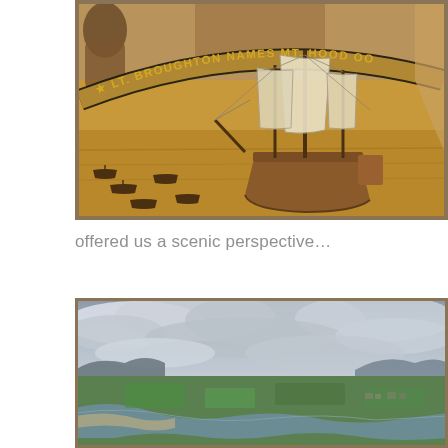[Figure (illustration): A painted mural illustration of a tall ship with full sails on a golden-brown waterway, surrounded by smaller rowing boats. A curved banner reads 'LT. BROUGHTON NAMES MT. HOOD' with decorative figures at the top.]
offered us a scenic perspective…
[Figure (photo): An aerial photograph of a wide river delta with green fields, a small town in the distance, and a dramatic cloudy sky. Mountains are visible on the horizon.]